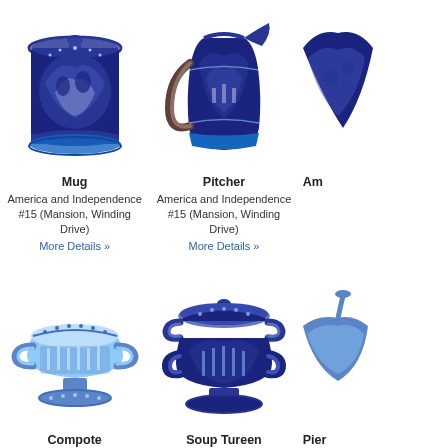[Figure (illustration): Blue and white ceramic mug with decorative scene]
Mug
America and Independence #15 (Mansion, Winding Drive)
More Details »
[Figure (illustration): Blue and white ceramic pitcher with decorative scene]
Pitcher
America and Independence #15 (Mansion, Winding Drive)
More Details »
[Figure (illustration): Partial view of a third blue ceramic item]
Am...
[Figure (illustration): Blue and white ceramic compote with two handles and pedestal base]
Compote
Bank Savannah
[Figure (illustration): Blue and white ceramic soup tureen with lid and two handles]
Soup Tureen
Bank Savannah
[Figure (illustration): Partially visible blue ceramic piece]
Pier...